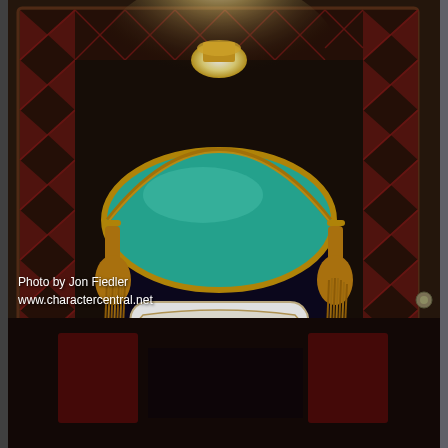[Figure (photo): A display case inside what appears to be a Disney park attraction or museum. Inside the wooden-framed case with stained glass borders is a dark navy/black decorative box or chest topped with a teal/turquoise satin pillow adorned with gold rope trim and golden tassels hanging at the sides. A white decorative placard with ornate borders reads: 'POUR JASMINE, CE RÊVE BLEU DURERA TOUTE LA VIE.' and 'TOGETHER, JASMINE AND ALADDIN DISCOVERED A WHOLE NEW WORLD'. A lamp illuminates from above.]
Photo by Jon Fiedler
www.charactercentral.net
[Figure (photo): Partial view of the bottom of the display case showing dark red/maroon decorative elements visible at the bottom of the frame.]